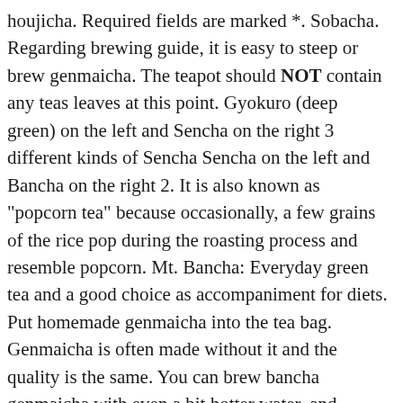houjicha. Required fields are marked *. Sobacha. Regarding brewing guide, it is easy to steep or brew genmaicha. The teapot should NOT contain any teas leaves at this point. Gyokuro (deep green) on the left and Sencha on the right 3 different kinds of Sencha Sencha on the left and Bancha on the right 2. It is also known as "popcorn tea" because occasionally, a few grains of the rice pop during the roasting process and resemble popcorn. Mt. Bancha: Everyday green tea and a good choice as accompaniment for diets. Put homemade genmaicha into the tea bag. Genmaicha is often made without it and the quality is the same. You can brew bancha genmaicha with even a bit hotter water, and Sencha Genmaicha and Gyokuro genmaicha with a slightly cooler water. Drying process begins. The following video shows a type of kyusu called dobin (🆎🆎). Don't fill the first cup all at once, alternate from cup t... You can also carry it in a ... Next, steam the rice, like you would when cooking it for consumption. The rice is soaked in water for some time, so that it can be easily steamed. TEA THAT REALLY